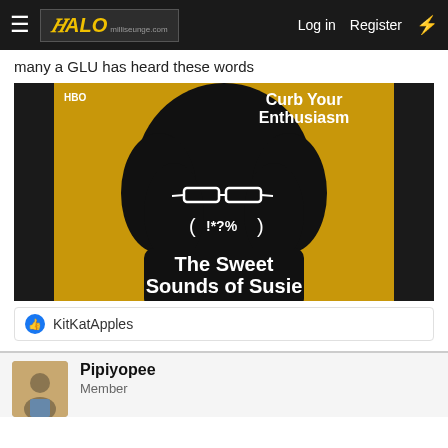≡  HALO  Log in  Register  ⚡
many a GLU has heard these words
[Figure (photo): Curb Your Enthusiasm HBO promotional poster showing a silhouette with curly hair and glasses. Text reads: 'HBO', 'Curb Your Enthusiasm', '!*?%', 'The Sweet Sounds of Susie'. Yellow and dark background.]
👍 KitKatApples
Pipiyopee
Member